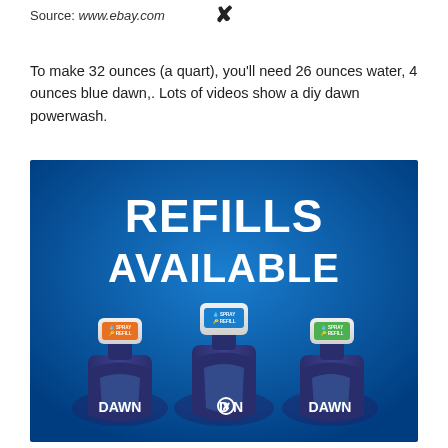Source: www.ebay.com
To make 32 ounces (a quart), you'll need 26 ounces water, 4 ounces blue dawn,. Lots of videos show a diy dawn powerwash.
[Figure (photo): Dawn dish soap advertisement showing three blue Dawn Powerwash refill bottles with white spray caps labeled 'SPRAY REFILL' in orange, blue, and green. Large white bold text reads 'REFILLS AVAILABLE' on a blue gradient background. The bottles show the DAWN logo at the bottom.]